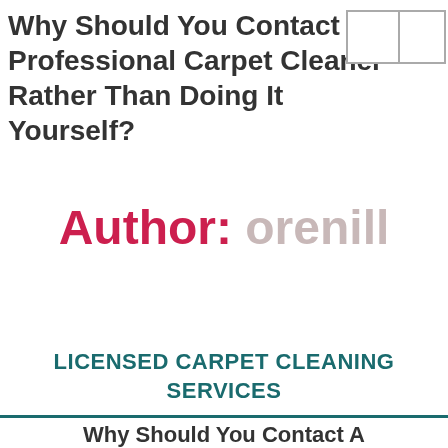Why Should You Contact A Professional Carpet Cleaner Rather Than Doing It Yourself?
Author: [name redacted]
LICENSED CARPET CLEANING SERVICES
Why Should You Contact A